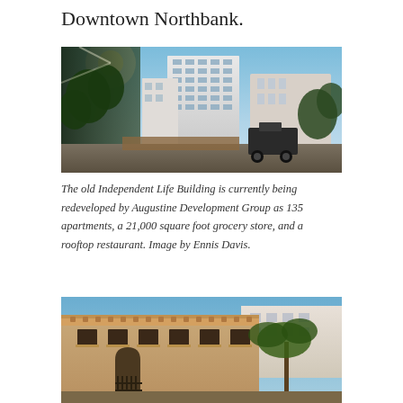Downtown Northbank.
[Figure (photo): Photograph of the old Independent Life Building, a tall multi-story white office tower with glass windows, surrounded by trees and with a truck parked in front, under a blue sky.]
The old Independent Life Building is currently being redeveloped by Augustine Development Group as 135 apartments, a 21,000 square foot grocery store, and a rooftop restaurant. Image by Ennis Davis.
[Figure (photo): Photograph of a historic tan/beige masonry building with arched windows, ornate detailing, and a white building visible behind it under a blue sky with palm trees.]